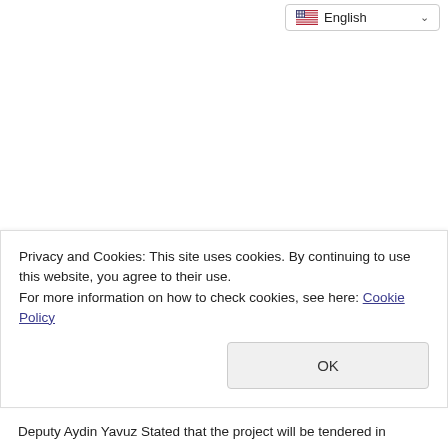[Figure (screenshot): Language selector dropdown showing English with US flag and chevron, positioned top right]
Privacy and Cookies: This site uses cookies. By continuing to use this website, you agree to their use.
For more information on how to check cookies, see here: Cookie Policy
OK
Deputy Aydin Yavuz Stated that the project will be tendered in